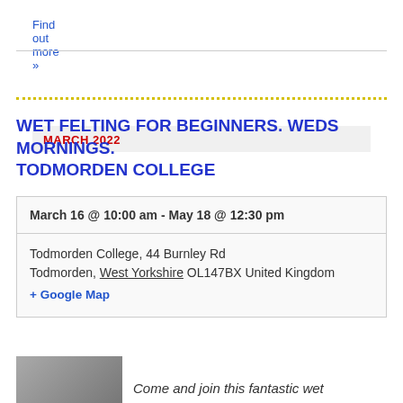Find out more »
MARCH 2022
WET FELTING FOR BEGINNERS. WEDS MORNINGS. TODMORDEN COLLEGE
| March 16 @ 10:00 am - May 18 @ 12:30 pm |
| Todmorden College, 44 Burnley Rd
Todmorden, West Yorkshire OL147BX United Kingdom
+ Google Map |
$30 – $150.00
Come and join this fantastic wet